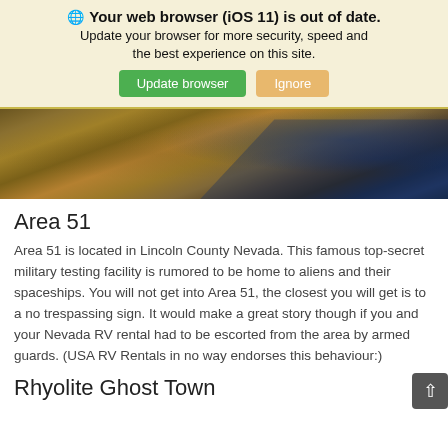🌐 Your web browser (iOS 11) is out of date. Update your browser for more security, speed and the best experience on this site. Update browser | Ignore
[Figure (photo): Aerial or wide landscape photograph of rocky, sandy terrain with dark water or shadow areas visible in upper right portion. Brown and tan rock formations dominate.]
Area 51
Area 51 is located in Lincoln County Nevada. This famous top-secret military testing facility is rumored to be home to aliens and their spaceships. You will not get into Area 51, the closest you will get is to a no trespassing sign. It would make a great story though if you and your Nevada RV rental had to be escorted from the area by armed guards. (USA RV Rentals in no way endorses this behaviour:)
Rhyolite Ghost Town